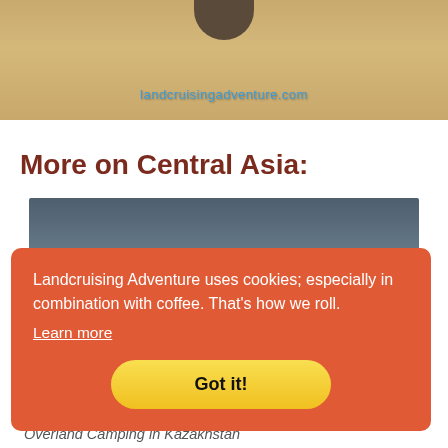[Figure (photo): Website header image showing sandy terrain with dark object at top center and the URL landcruisingadventure.com in blue cursive text]
More on Central Asia:
[Figure (photo): Partial photo showing a blue-grey sky/landscape, partially obscured by cookie consent banner]
Landcruising Adventure uses cookies; especially in combination with coffee. That's how we roll.
Learn more
Got it!
Overland Camping in Kazakhstan